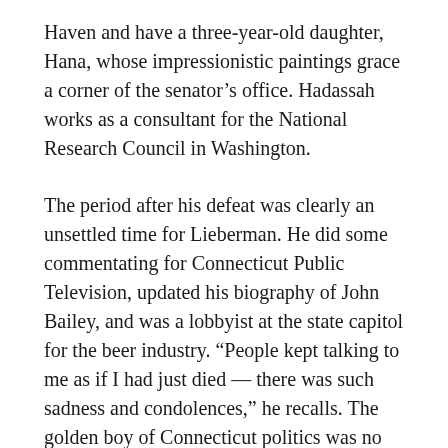Haven and have a three-year-old daughter, Hana, whose impressionistic paintings grace a corner of the senator's office. Hadassah works as a consultant for the National Research Council in Washington.
The period after his defeat was clearly an unsettled time for Lieberman. He did some commentating for Connecticut Public Television, updated his biography of John Bailey, and was a lobbyist at the state capitol for the beer industry. “People kept talking to me as if I had just died — there was such sadness and condolences,” he recalls. The golden boy of Connecticut politics was no longer inexorably bound for glory. His next defeat might well be his last. But by July